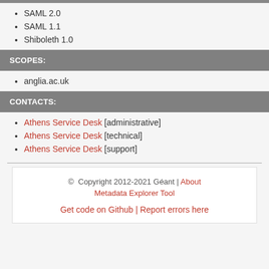SAML 2.0
SAML 1.1
Shiboleth 1.0
SCOPES:
anglia.ac.uk
CONTACTS:
Athens Service Desk [administrative]
Athens Service Desk [technical]
Athens Service Desk [support]
© Copyright 2012-2021 Géant | About Metadata Explorer Tool
Get code on Github | Report errors here